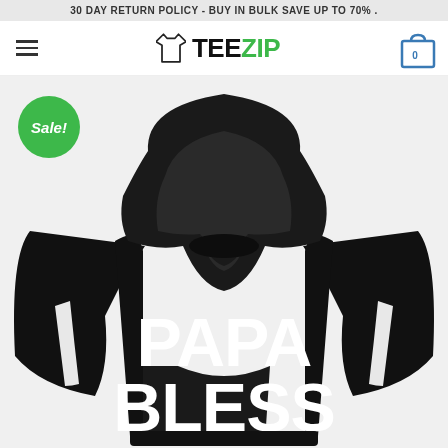30 DAY RETURN POLICY - BUY IN BULK SAVE UP TO 70% .
[Figure (logo): TeeZip logo with t-shirt icon, TEE in black and ZIP in green]
[Figure (photo): Black hoodie with PAPA BLESS text printed in large white bold letters on the front, with a Sale! badge in green circle on the upper left]